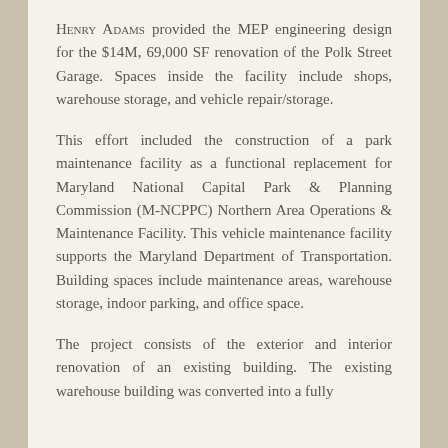Henry Adams provided the MEP engineering design for the $14M, 69,000 SF renovation of the Polk Street Garage. Spaces inside the facility include shops, warehouse storage, and vehicle repair/storage.
This effort included the construction of a park maintenance facility as a functional replacement for Maryland National Capital Park & Planning Commission (M-NCPPC) Northern Area Operations & Maintenance Facility. This vehicle maintenance facility supports the Maryland Department of Transportation. Building spaces include maintenance areas, warehouse storage, indoor parking, and office space.
The project consists of the exterior and interior renovation of an existing building. The existing warehouse building was converted into a fully